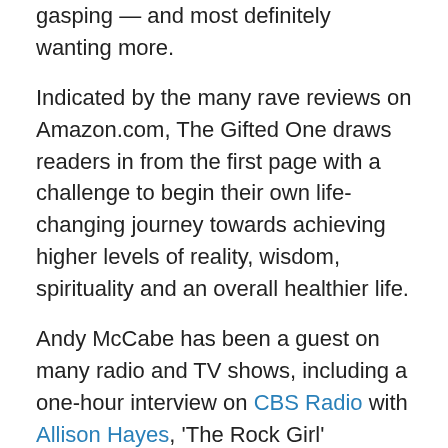gasping — and most definitely wanting more.
Indicated by the many rave reviews on Amazon.com, The Gifted One draws readers in from the first page with a challenge to begin their own life-changing journey towards achieving higher levels of reality, wisdom, spirituality and an overall healthier life.
Andy McCabe has been a guest on many radio and TV shows, including a one-hour interview on CBS Radio with Allison Hayes, 'The Rock Girl' (recipient of the 2011 Psychic of the Year Award from Om magazine). A graduate of Rutgers University, Andy is an associate professor who teaches courses in behavior disorders
For more information on this talented writer, please visit: www.andycitybear.com.
The Gifted One: The Amazon Review